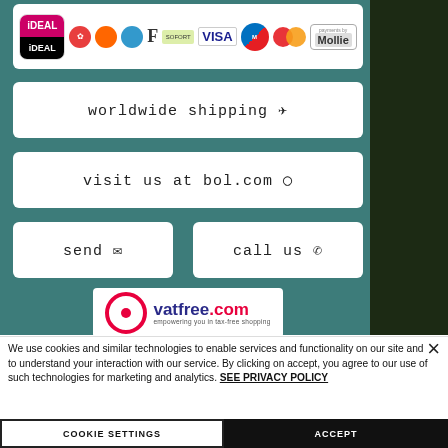[Figure (screenshot): Payment methods banner showing iDEAL, various payment icons, VISA, Maestro, MasterCard, and Mollie logos on a white rounded rectangle background over a teal background.]
worldwide shipping
visit us at bol.com
send
call us
[Figure (logo): vatfree.com logo - empowering you in tax-free shopping]
We use cookies and similar technologies to enable services and functionality on our site and to understand your interaction with our service. By clicking on accept, you agree to our use of such technologies for marketing and analytics. SEE PRIVACY POLICY
COOKIE SETTINGS
ACCEPT